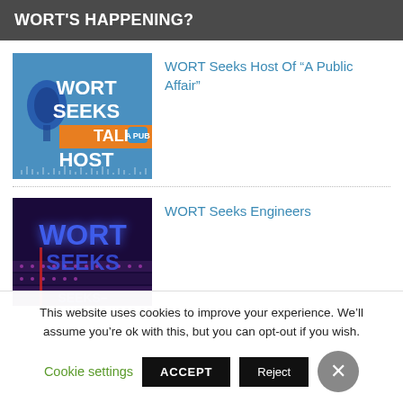WORT'S HAPPENING?
[Figure (photo): Blue and orange promotional image with text: WORT SEEKS TALK HOST, with microphone graphic and audio waveform]
WORT Seeks Host Of “A Public Affair”
[Figure (photo): Dark purple/blue image with glowing WORT logo text and SEEKS partially visible]
WORT Seeks Engineers
This website uses cookies to improve your experience. We’ll assume you’re ok with this, but you can opt-out if you wish.
Cookie settings   ACCEPT   Reject